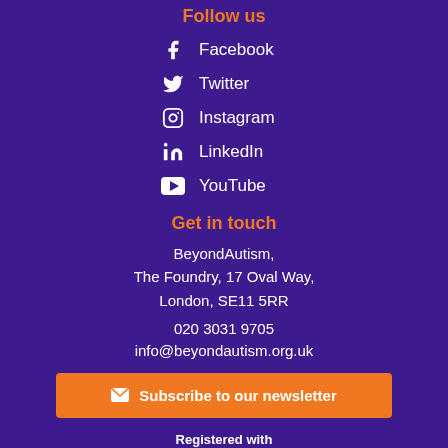Follow us
Facebook
Twitter
Instagram
LinkedIn
YouTube
Get in touch
BeyondAutism, The Foundry, 17 Oval Way, London, SE11 5RR
020 3031 9705
info@beyondautism.org.uk
Subscribe to our newsletter
Registered with